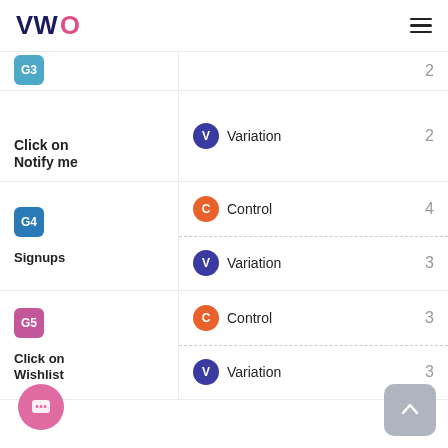[Figure (logo): VWO logo in navy/pink]
| Goal | Variant | Count |
| --- | --- | --- |
| G3 (partial) | (C circle) | 2 |
| Click on Notify me | Variation | 2 |
| G4 Signups | Control | 4 |
| G4 Signups | Variation | 3 |
| G5 Click on Wishlist | Control | 3 |
| G5 Click on Wishlist | Variation | 3 |